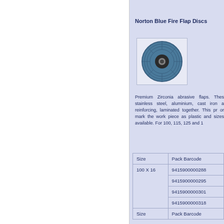Norton Blue Fire Flap Discs
[Figure (photo): Blue flap disc abrasive grinding wheel viewed from above, showing layered zirconia flaps and central metal hub.]
Premium Zirconia abrasive flaps. These stainless steel, aluminium, cast iron and reinforcing, laminated together. This pr or mark the work piece as plastic and sizes available. For 100, 115, 125 and 1
| Size | Pack Barcode |
| --- | --- |
| 100 X 16 | 9415900000288 |
|  | 9415900000295 |
|  | 9415900000301 |
|  | 9415900000318 |
| Size | Pack Barcode |